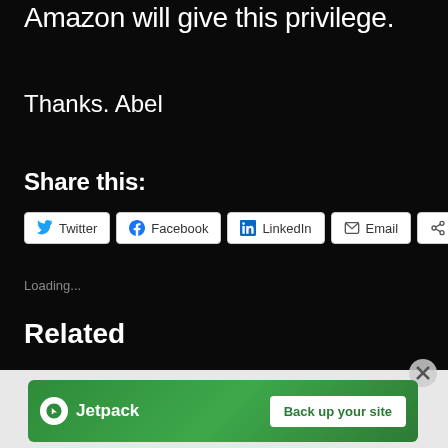Amazon will give this privilege.
Thanks. Abel
Share this:
Twitter  Facebook  LinkedIn  Email  More
Loading...
Related
[Figure (infographic): Jetpack advertisement banner with green background, Jetpack logo and lightning bolt icon on left, 'Back up your site' white button on right]